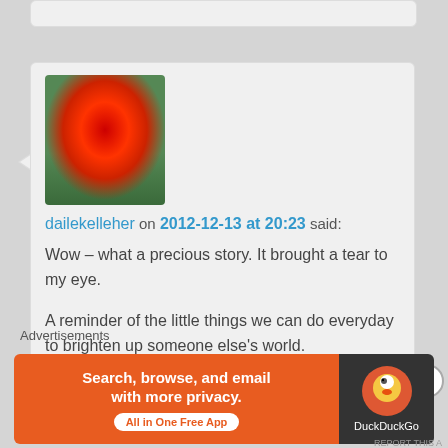[Figure (photo): Profile photo of a woman with bright red hair and glasses]
dailekelleher on 2012-12-13 at 20:23 said: Wow – what a precious story. It brought a tear to my eye.

A reminder of the little things we can do everyday to brighten up someone else's world.

Congratulations on being freshly pressed – you deserve it!
Advertisements
[Figure (screenshot): DuckDuckGo advertisement banner: Search, browse, and email with more privacy. All in One Free App]